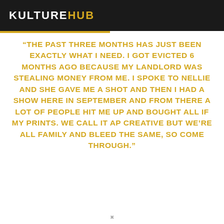KULTUREHUB
“THE PAST THREE MONTHS HAS JUST BEEN EXACTLY WHAT I NEED. I GOT EVICTED 6 MONTHS AGO BECAUSE MY LANDLORD WAS STEALING MONEY FROM ME. I SPOKE TO NELLIE AND SHE GAVE ME A SHOT AND THEN I HAD A SHOW HERE IN SEPTEMBER AND FROM THERE A LOT OF PEOPLE HIT ME UP AND BOUGHT ALL IF MY PRINTS. WE CALL IT AP CREATIVE BUT WE’RE ALL FAMILY AND BLEED THE SAME, SO COME THROUGH.”